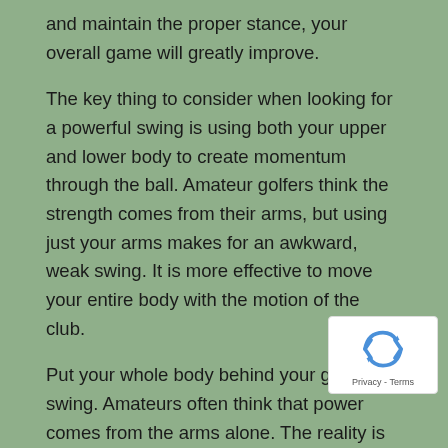and maintain the proper stance, your overall game will greatly improve.
The key thing to consider when looking for a powerful swing is using both your upper and lower body to create momentum through the ball. Amateur golfers think the strength comes from their arms, but using just your arms makes for an awkward, weak swing. It is more effective to move your entire body with the motion of the club.
Put your whole body behind your golf swing. Amateurs often think that power comes from the arms alone. The reality is that if you rely solely on your arms, your swing will be weak and awkward. It's better to use the entire body along with the motion from your club.
[Figure (logo): reCAPTCHA badge with recycling arrow icon and Privacy - Terms text]
Regarding the game of golf, try not to obsess over will be able to relax and have fun if you recognize that